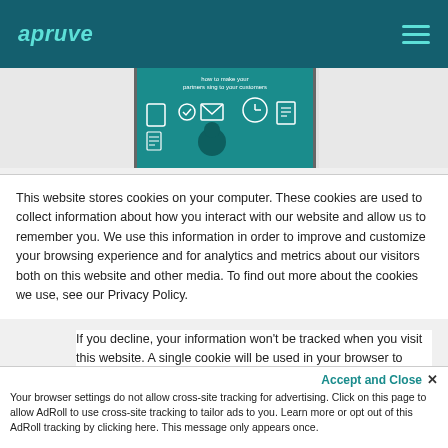apruve
[Figure (illustration): Website header screenshot showing a teal/dark teal illustration of a person at a desk with icons for email, checklist, clock, and document — partial view of a blog or marketing page]
This website stores cookies on your computer. These cookies are used to collect information about how you interact with our website and allow us to remember you. We use this information in order to improve and customize your browsing experience and for analytics and metrics about our visitors both on this website and other media. To find out more about the cookies we use, see our Privacy Policy.
If you decline, your information won't be tracked when you visit this website. A single cookie will be used in your browser to remember your preference not to be tracked.
Accept and Close ✕
Your browser settings do not allow cross-site tracking for advertising. Click on this page to allow AdRoll to use cross-site tracking to tailor ads to you. Learn more or opt out of this AdRoll tracking by clicking here. This message only appears once.